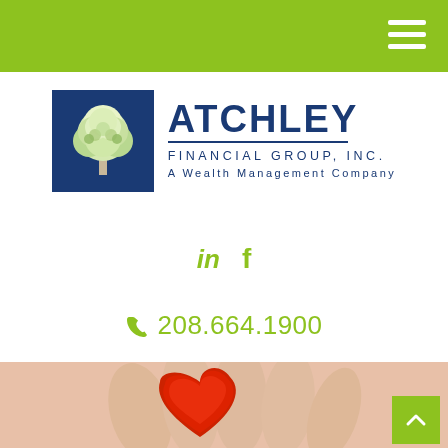Atchley Financial Group, Inc. — navigation header bar
[Figure (logo): Atchley Financial Group, Inc. logo — blue square with white oak tree illustration, beside bold blue text 'ATCHLEY' and 'FINANCIAL GROUP, INC. / A Wealth Management Company']
in  f
208.664.1900
[Figure (photo): Close-up photo of two hands gently holding a red heart shape, symbolic of care and trust]